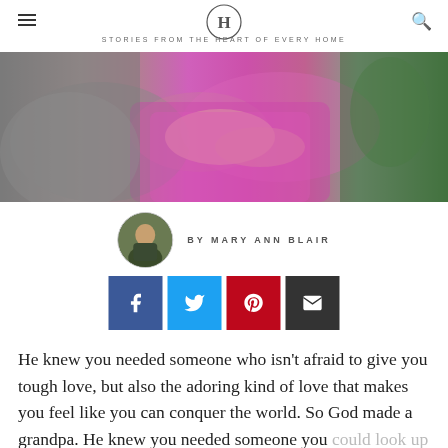STORIES FROM THE HEART OF EVERY HOME
[Figure (photo): Close-up photo of an adult's hands holding a child wearing a magenta/purple jacket outdoors]
BY MARY ANN BLAIR
[Figure (infographic): Social share buttons: Facebook, Twitter, Pinterest, Email]
He knew you needed someone who isn't afraid to give you tough love, but also the adoring kind of love that makes you feel like you can conquer the world. So God made a grandpa. He knew you needed someone you could look up to, someone who would teach you about the satisfaction that comes from a hard day's work and a